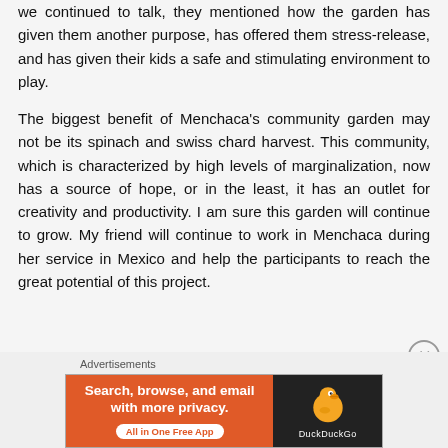we continued to talk, they mentioned how the garden has given them another purpose, has offered them stress-release, and has given their kids a safe and stimulating environment to play.
The biggest benefit of Menchaca's community garden may not be its spinach and swiss chard harvest. This community, which is characterized by high levels of marginalization, now has a source of hope, or in the least, it has an outlet for creativity and productivity. I am sure this garden will continue to grow. My friend will continue to work in Menchaca during her service in Mexico and help the participants to reach the great potential of this project.
[Figure (infographic): DuckDuckGo advertisement banner. Orange left panel with text 'Search, browse, and email with more privacy.' and 'All in One Free App' button. Dark right panel with DuckDuckGo duck logo and 'DuckDuckGo' text.]